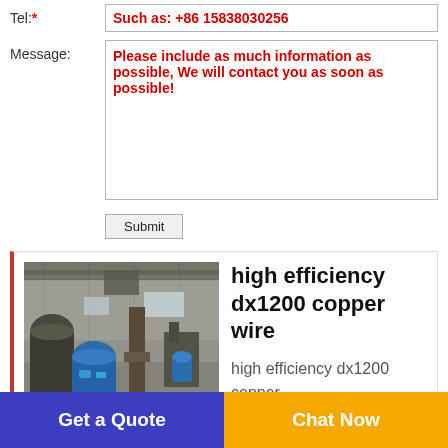Tel:* Such as: +86 15838030256
Message: Please include as much information as possible, We will contact you as soon as possible!
Submit
[Figure (photo): Industrial factory floor with heavy machinery, copper wire processing equipment, blue machines visible]
high efficiency dx1200 copper wire
high efficiency dx1200 copper
Get a Quote
Chat Now